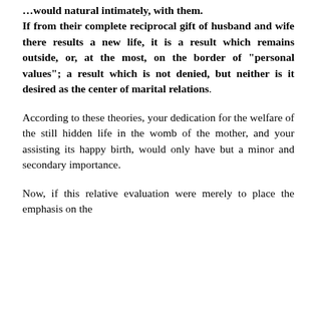…would natural intimately, with them. If from their complete reciprocal gift of husband and wife there results a new life, it is a result which remains outside, or, at the most, on the border of "personal values"; a result which is not denied, but neither is it desired as the center of marital relations.
According to these theories, your dedication for the welfare of the still hidden life in the womb of the mother, and your assisting its happy birth, would only have but a minor and secondary importance.
Now, if this relative evaluation were merely to place the emphasis on the …